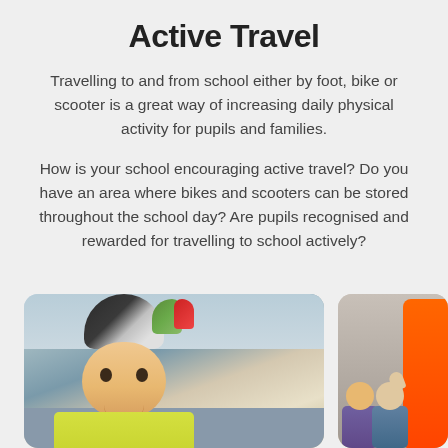Active Travel
Travelling to and from school either by foot, bike or scooter is a great way of increasing daily physical activity for pupils and families.
How is your school encouraging active travel? Do you have an area where bikes and scooters can be stored throughout the school day? Are pupils recognised and rewarded for travelling to school actively?
[Figure (photo): Child wearing a cycling helmet and hi-vis jacket, smiling, outdoors near a street]
[Figure (photo): Group of children outdoors, one waving, with an orange shape visible on the right side]